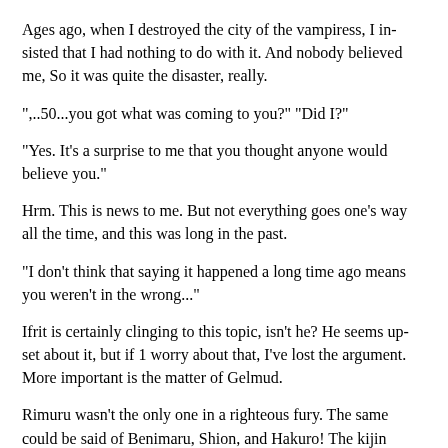Ages ago, when I destroyed the city of the vampiress, I in- sisted that I had nothing to do with it. And nobody believed me, So it was quite the disaster, really.
",..50...you got what was coming to you?" "Did I?"
"Yes. It's a surprise to me that you thought anyone would believe you."
Hrm. This is news to me. But not everything goes one's way all the time, and this was long in the past.
"I don't think that saying it happened a long time ago means you weren't in the wrong..."
Ifrit is certainly clinging to this topic, isn't he? He seems up- set about it, but if 1 worry about that, I've lost the argument. More important is the matter of Gelmud.
Rimuru wasn't the only one in a righteous fury. The same could be said of Benimaru, Shion, and Hakuro! The kijin companions bore open rage at Gelmud. It must be because of the sacking of their village.
For his part, Gelmud is a higher majin who performed many